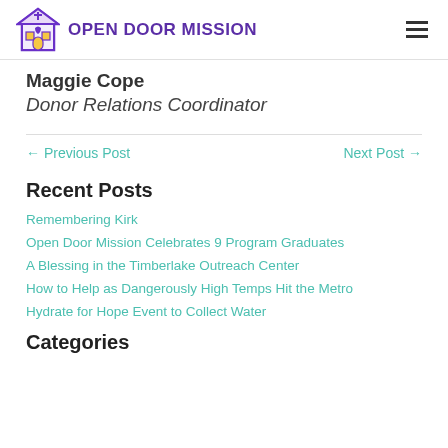OPEN DOOR MISSION
Maggie Cope
Donor Relations Coordinator
← Previous Post
Next Post →
Recent Posts
Remembering Kirk
Open Door Mission Celebrates 9 Program Graduates
A Blessing in the Timberlake Outreach Center
How to Help as Dangerously High Temps Hit the Metro
Hydrate for Hope Event to Collect Water
Categories